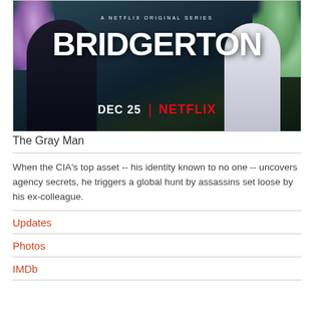[Figure (photo): Bridgerton Netflix Original Series promotional poster showing 'DEC 25 | NETFLIX' with two figures in period costume against a floral background]
The Gray Man
When the CIA's top asset -- his identity known to no one -- uncovers agency secrets, he triggers a global hunt by assassins set loose by his ex-colleague.
Updates
Photos
IMDb